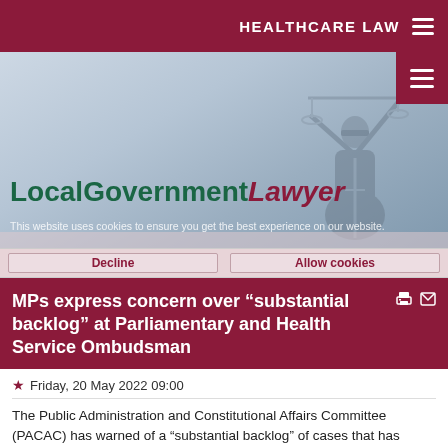HEALTHCARE LAW
[Figure (screenshot): LocalGovernmentLawyer website banner with Lady Justice statue silhouette on blue-grey gradient background, showing site logo with green 'LocalGovernment' and dark red italic 'Lawyer' text, and a cookie consent notice overlay.]
MPs express concern over “substantial backlog” at Parliamentary and Health Service Ombudsman
Friday, 20 May 2022 09:00
The Public Administration and Constitutional Affairs Committee (PACAC) has warned of a “substantial backlog” of cases that has developed at the Parliamentary and Health Service Ombudsman (PHSO) as a result of the pandemic.